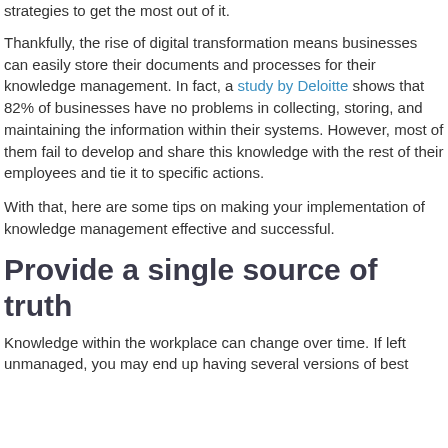strategies to get the most out of it.
Thankfully, the rise of digital transformation means businesses can easily store their documents and processes for their knowledge management. In fact, a study by Deloitte shows that 82% of businesses have no problems in collecting, storing, and maintaining the information within their systems. However, most of them fail to develop and share this knowledge with the rest of their employees and tie it to specific actions.
With that, here are some tips on making your implementation of knowledge management effective and successful.
Provide a single source of truth
Knowledge within the workplace can change over time. If left unmanaged, you may end up having several versions of best